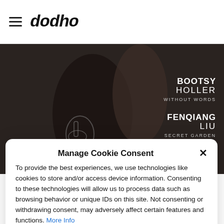dodho
[Figure (illustration): Dark artistic photo background showing figures with text overlays: BOOTSY HOLLER / WITHOUT WORDS, FENQIANG LIU / SECRET GARDEN, GRAEME PURDY]
Manage Cookie Consent
To provide the best experiences, we use technologies like cookies to store and/or access device information. Consenting to these technologies will allow us to process data such as browsing behavior or unique IDs on this site. Not consenting or withdrawing consent, may adversely affect certain features and functions. More Info
Accept